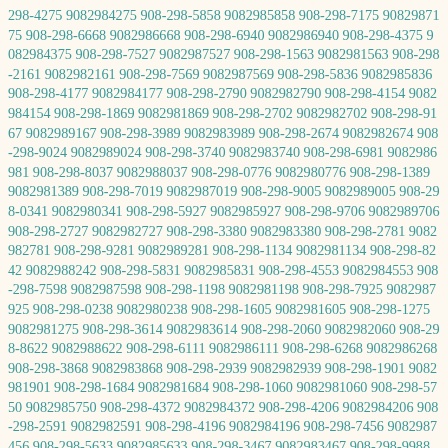298-4275 9082984275 908-298-5858 9082985858 908-298-7175 9082987175 908-298-6668 9082986668 908-298-6940 9082986940 908-298-4375 9082984375 908-298-7527 9082987527 908-298-1563 9082981563 908-298-2161 9082982161 908-298-7569 9082987569 908-298-5836 9082985836 908-298-4177 9082984177 908-298-2790 9082982790 908-298-4154 9082984154 908-298-1869 9082981869 908-298-2702 9082982702 908-298-9167 9082989167 908-298-3989 9082983989 908-298-2674 9082982674 908-298-9024 9082989024 908-298-3740 9082983740 908-298-6981 9082986981 908-298-8037 9082988037 908-298-0776 9082980776 908-298-1389 9082981389 908-298-7019 9082987019 908-298-9005 9082989005 908-298-0341 9082980341 908-298-5927 9082985927 908-298-9706 9082989706 908-298-2727 9082982727 908-298-3380 9082983380 908-298-2781 9082982781 908-298-9281 9082989281 908-298-1134 9082981134 908-298-8242 9082988242 908-298-5831 9082985831 908-298-4553 9082984553 908-298-7598 9082987598 908-298-1198 9082981198 908-298-7925 9082987925 908-298-0238 9082980238 908-298-1605 9082981605 908-298-1275 9082981275 908-298-3614 9082983614 908-298-2060 9082982060 908-298-8622 9082988622 908-298-6111 9082986111 908-298-6268 9082986268 908-298-3868 9082983868 908-298-2939 9082982939 908-298-1901 9082981901 908-298-1684 9082981684 908-298-1060 9082981060 908-298-5750 9082985750 908-298-4372 9082984372 908-298-4206 9082984206 908-298-2591 9082982591 908-298-4196 9082984196 908-298-7456 9082987456 908-298-5633 9082985633 908-298-3467 9082983467 908-298-9988 9082989988 908-298-8139 9082988139 908-298-8627 9082988627 908-